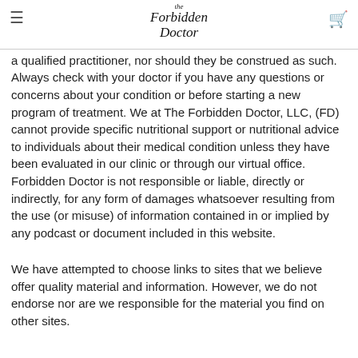The Forbidden Doctor [logo/header with hamburger menu and cart]
documents, both on this website are presented for informational purposes and are not meant to be a substitute for professional medical care or attention by a qualified practitioner, nor should they be construed as such. Always check with your doctor if you have any questions or concerns about your condition or before starting a new program of treatment. We at The Forbidden Doctor, LLC, (FD) cannot provide specific nutritional support or nutritional advice to individuals about their medical condition unless they have been evaluated in our clinic or through our virtual office. Forbidden Doctor is not responsible or liable, directly or indirectly, for any form of damages whatsoever resulting from the use (or misuse) of information contained in or implied by any podcast or document included in this website.
We have attempted to choose links to sites that we believe offer quality material and information. However, we do not endorse nor are we responsible for the material you find on other sites.